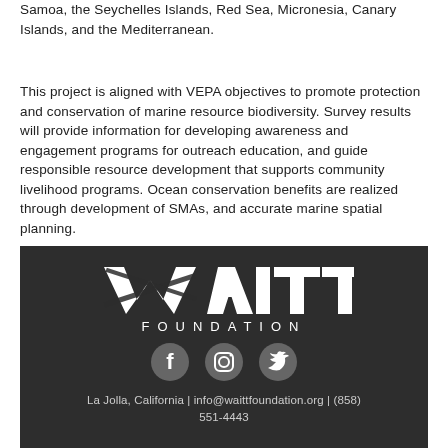Samoa, the Seychelles Islands, Red Sea, Micronesia, Canary Islands, and the Mediterranean.
This project is aligned with VEPA objectives to promote protection and conservation of marine resource biodiversity. Survey results will provide information for developing awareness and engagement programs for outreach education, and guide responsible resource development that supports community livelihood programs. Ocean conservation benefits are realized through development of SMAs, and accurate marine spatial planning.
[Figure (logo): Waitt Foundation logo on dark background with social media icons (Facebook, Instagram, Twitter) and contact information: La Jolla, California | info@waittfoundation.org | (858) 551-4443]